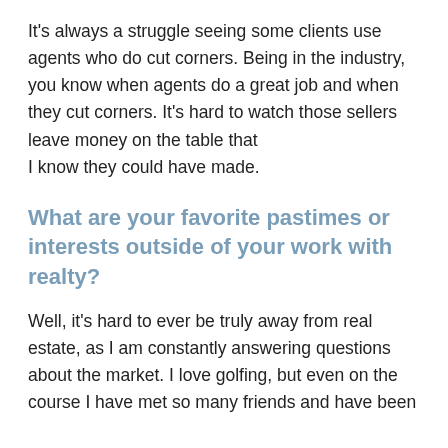It's always a struggle seeing some clients use agents who do cut corners. Being in the industry, you know when agents do a great job and when they cut corners. It's hard to watch those sellers leave money on the table that I know they could have made.
What are your favorite pastimes or interests outside of your work with realty?
Well, it's hard to ever be truly away from real estate, as I am constantly answering questions about the market. I love golfing, but even on the course I have met so many friends and have been